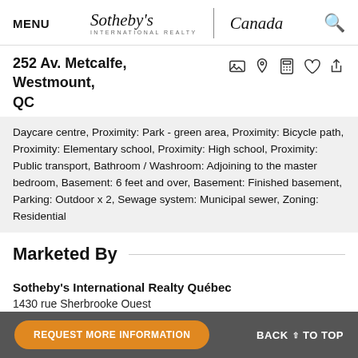MENU | Sotheby's INTERNATIONAL REALTY | Canada
252 Av. Metcalfe, Westmount, QC
Daycare centre, Proximity: Park - green area, Proximity: Bicycle path, Proximity: Elementary school, Proximity: High school, Proximity: Public transport, Bathroom / Washroom: Adjoining to the master bedroom, Basement: 6 feet and over, Basement: Finished basement, Parking: Outdoor x 2, Sewage system: Municipal sewer, Zoning: Residential
Marketed By
Sotheby's International Realty Québec
1430 rue Sherbrooke Ouest
Montréal, Quebec, H3G 1K4